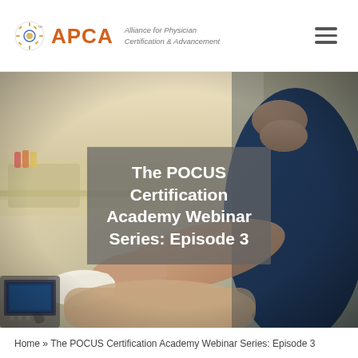APCA — Alliance for Physician Certification & Advancement
[Figure (photo): Medical professional performing a point-of-care ultrasound (POCUS) examination on a patient in a clinical setting. A male clinician in a navy blue shirt is seen using an ultrasound probe. Medical equipment visible in the background.]
The POCUS Certification Academy Webinar Series: Episode 3
Home » The POCUS Certification Academy Webinar Series: Episode 3